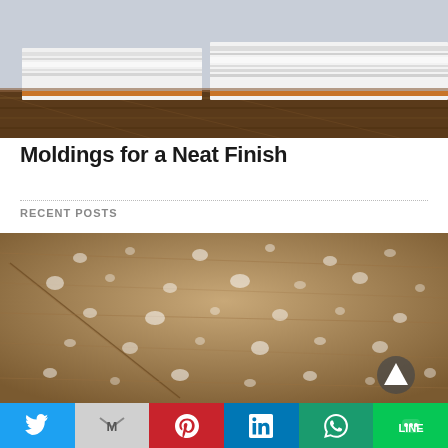[Figure (photo): White decorative moldings/baseboard trim against a wall, with dark hardwood floor below.]
Moldings for a Neat Finish
RECENT POSTS
[Figure (photo): Close-up of water droplets on a wooden surface with a play/back-to-top button overlay.]
[Figure (infographic): Social share bar with Twitter, Gmail, Pinterest, LinkedIn, WhatsApp, and LINE buttons.]